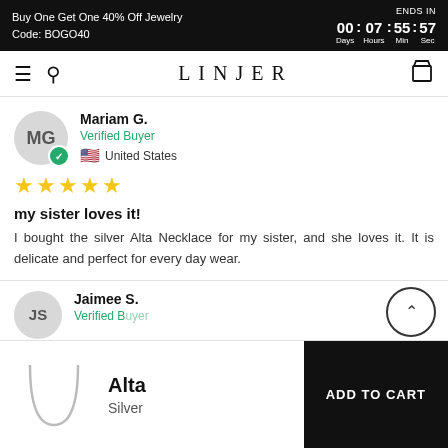Buy One Get One 40% Off Jewelry Code: BOGO40 | ENDS IN 00 Days : 07 Hours : 55 Min : 57 Sec
LINJER
Mariam G. — Verified Buyer — United States
★★★★★
my sister loves it!
I bought the silver Alta Necklace for my sister, and she loves it. It is delicate and perfect for every day wear.
Jaimee S. Verified Buyer
Alta — Silver — ADD TO CART